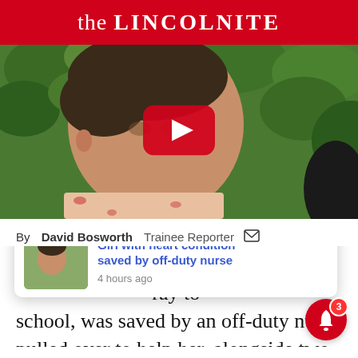the LINCOLNITE
[Figure (screenshot): Video thumbnail showing a young mixed-race girl with short hair, wearing a floral top, in front of green foliage. A YouTube play button is overlaid in the center.]
By David Bosworth  Trainee Reporter
[Figure (other): Notification popup: 'Girl with heart condition saved by off-duty nurse' with thumbnail, 4 hours ago, close X button, and red bell icon with badge 3]
...leet, near ...ray to school, was saved by an off-duty nurse pulled over to help her, alongside two